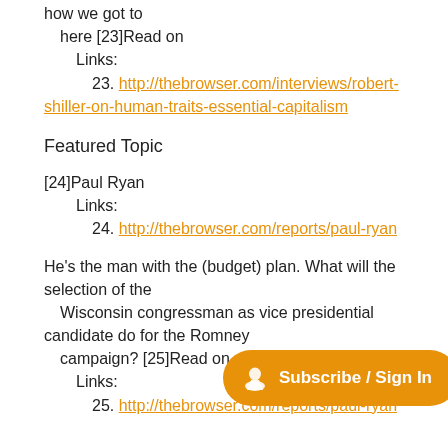how we got to here [23]Read on
  Links:
    23. http://thebrowser.com/interviews/robert-shiller-on-human-traits-essential-capitalism
Featured Topic
[24]Paul Ryan
  Links:
    24. http://thebrowser.com/reports/paul-ryan
He's the man with the (budget) plan. What will the selection of the Wisconsin congressman as vice presidential candidate do for the Romney campaign? [25]Read on
  Links:
    25. http://thebrowser.com/reports/paul-ryan